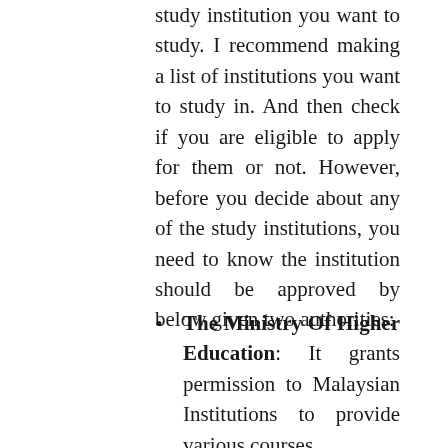study institution you want to study. I recommend making a list of institutions you want to study in. And then check if you are eligible to apply for them or not. However, before you decide about any of the study institutions, you need to know the institution should be approved by below given two authorities:
The Ministry Of Higher Education: It grants permission to Malaysian Institutions to provide various courses